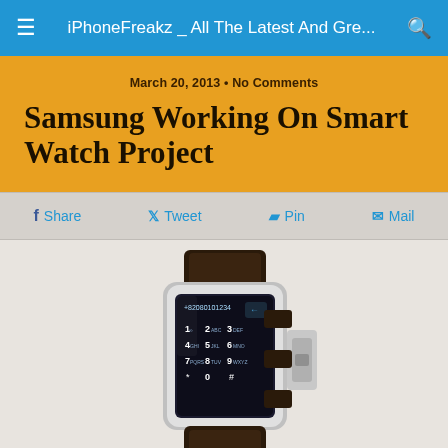iPhoneFreakz _ All The Latest And Gre...
March 20, 2013 • No Comments
Samsung Working On Smart Watch Project
Share  Tweet  Pin  Mail
[Figure (photo): A Samsung smartwatch with a black leather band and a phone keypad displayed on its screen, showing the number +82080101234 and numeric keys 0-9.]